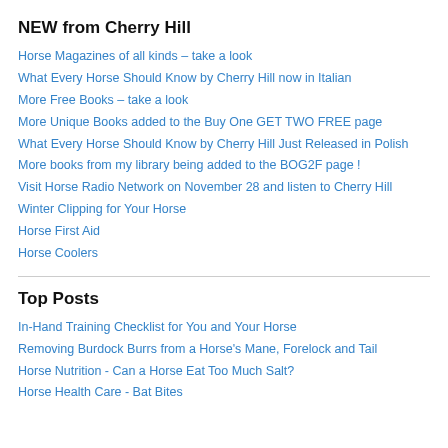NEW from Cherry Hill
Horse Magazines of all kinds – take a look
What Every Horse Should Know by Cherry Hill now in Italian
More Free Books – take a look
More Unique Books added to the Buy One GET TWO FREE page
What Every Horse Should Know by Cherry Hill Just Released in Polish
More books from my library being added to the BOG2F page !
Visit Horse Radio Network on November 28 and listen to Cherry Hill
Winter Clipping for Your Horse
Horse First Aid
Horse Coolers
Top Posts
In-Hand Training Checklist for You and Your Horse
Removing Burdock Burrs from a Horse's Mane, Forelock and Tail
Horse Nutrition - Can a Horse Eat Too Much Salt?
Horse Health Care - Bat Bites